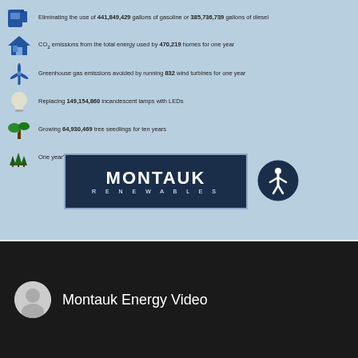Eliminating the use of 441,849,429 gallons of gasoline or 385,736,739 gallons of diesel
CO₂ emissions from the total energy used by 470,219 homes for one year
Greenhouse gas emissions avoided by running 832 wind turbines for one year
Replacing 149,154,860 incandescent lamps with LEDs
Growing 64,930,469 tree seedlings for ten years
One year's worth of carbon sequestration from 4,619,666 acres of U.S. forest
[Figure (logo): Montauk Renewables logo — dark navy background with white text]
[Figure (infographic): Circular accessibility icon — dark navy circle with white person figure]
Montauk Energy Video